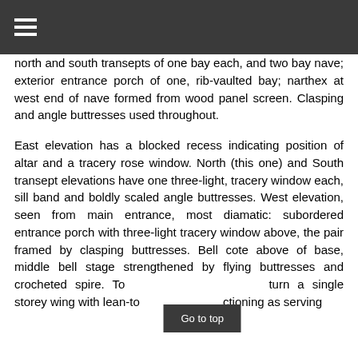≡
north and south transepts of one bay each, and two bay nave; exterior entrance porch of one, rib-vaulted bay; narthex at west end of nave formed from wood panel screen. Clasping and angle buttresses used throughout.
East elevation has a blocked recess indicating position of altar and a tracery rose window. North (this one) and South transept elevations have one three-light, tracery window each, sill band and boldly scaled angle buttresses. West elevation, seen from main entrance, most diamatic: subordered entrance porch with three-light tracery window above, the pair framed by clasping buttresses. Bell cote above of base, middle bell stage strengthened by flying buttresses and crocheted spire. To turn a single storey wing with lean-to ctioning as serving
Go to top